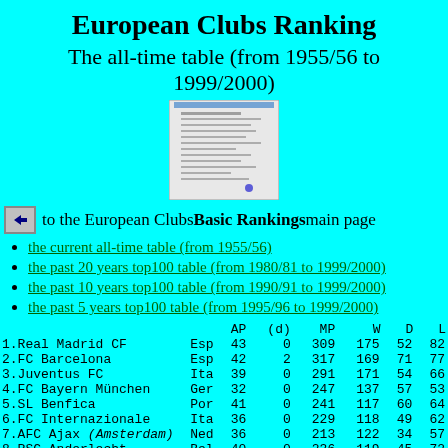European Clubs Ranking
The all-time table (from 1955/56 to 1999/2000)
[Figure (screenshot): Thumbnail image of the ranking table page]
to the European Clubs Basic Rankings main page
the current all-time table (from 1955/56)
the past 20 years top100 table (from 1980/81 to 1999/2000)
the past 10 years top100 table (from 1990/91 to 1999/2000)
the past 5 years top100 table (from 1995/96 to 1999/2000)
|  |  | AP | (d) | MP | W | D | L |
| --- | --- | --- | --- | --- | --- | --- | --- |
| 1.Real Madrid CF | Esp | 43 | 0 | 309 | 175 | 52 | 82 |
| 2.FC Barcelona | Esp | 42 | 2 | 317 | 169 | 71 | 77 |
| 3.Juventus FC | Ita | 39 | 0 | 291 | 171 | 54 | 66 |
| 4.FC Bayern München | Ger | 32 | 0 | 247 | 137 | 57 | 53 |
| 5.SL Benfica | Por | 41 | 0 | 241 | 117 | 60 | 64 |
| 6.FC Internazionale | Ita | 36 | 0 | 229 | 118 | 49 | 62 |
| 7.AFC Ajax (Amsterdam) | Ned | 36 | 0 | 213 | 122 | 34 | 57 |
| 8.RSC Anderlecht | Bel | 40 | 0 | 236 | 119 | 45 | 72 |
| 9.AC Milan | Ita | 30 | 0 | 205 | 109 | 47 | 49 |
| 10.Liverpool FC | Eng | 27 | 0 | 174 | 100 | 33 | 41 |